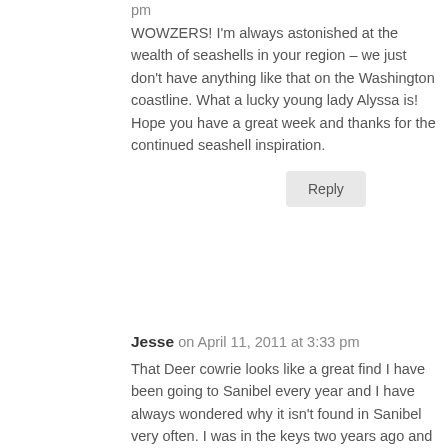pm
WOWZERS! I'm always astonished at the wealth of seashells in your region – we just don't have anything like that on the Washington coastline. What a lucky young lady Alyssa is! Hope you have a great week and thanks for the continued seashell inspiration.
Reply
Jesse on April 11, 2011 at 3:33 pm
That Deer cowrie looks like a great find I have been going to Sanibel every year and I have always wondered why it isn't found in Sanibel very often. I was in the keys two years ago and found two deer cowries